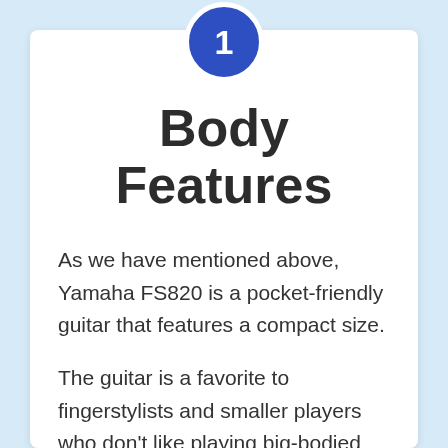[Figure (infographic): Dark blue circle badge with white border containing the number 1 in white]
Body Features
As we have mentioned above, Yamaha FS820 is a pocket-friendly guitar that features a compact size.
The guitar is a favorite to fingerstylists and smaller players who don't like playing big-bodied